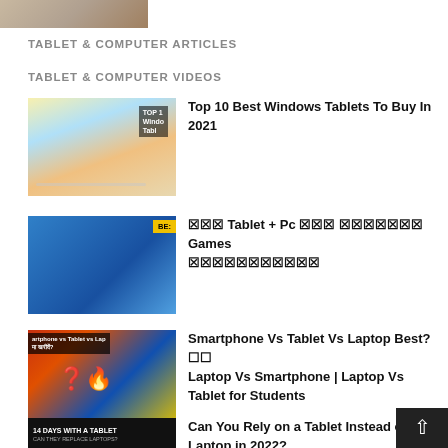[Figure (photo): Partial thumbnail image at top of page]
TABLET & COMPUTER ARTICLES
TABLET & COMPUTER VIDEOS
[Figure (photo): Thumbnail for Top 10 Best Windows Tablets video]
Top 10 Best Windows Tablets To Buy In 2021
[Figure (photo): Thumbnail for Tablet + Pc Games video]
🔲🔲🔲 Tablet + Pc 🔲🔲🔲 🔲🔲🔲🔲🔲🔲🔲 Games 🔲🔲🔲🔲🔲🔲🔲🔲🔲🔲🔲
[Figure (photo): Thumbnail for Smartphone Vs Tablet Vs Laptop video]
Smartphone Vs Tablet Vs Laptop Best? 🔲🔲 Laptop Vs Smartphone | Laptop Vs Tablet for Students
[Figure (photo): Thumbnail for Can You Rely on a Tablet Instead of a Laptop video]
Can You Rely on a Tablet Instead of a Laptop in 2022?